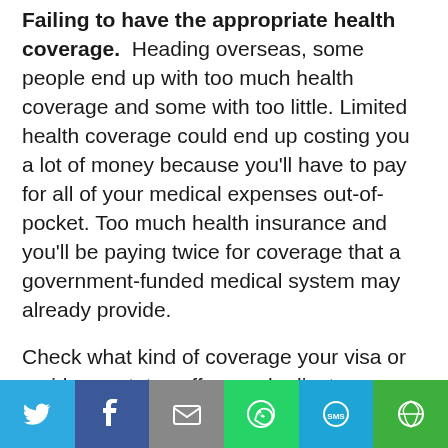Failing to have the appropriate health coverage. Heading overseas, some people end up with too much health coverage and some with too little. Limited health coverage could end up costing you a lot of money because you'll have to pay for all of your medical expenses out-of-pocket. Too much health insurance and you'll be paying twice for coverage that a government-funded medical system may already provide.
Check what kind of coverage your visa or residency status offers and adjust your investment appropriately. You may be covered under your government-provided...
[Figure (infographic): Social sharing bar with six icon buttons: Twitter (blue), Facebook (dark blue), Email (gray), WhatsApp (green), SMS (light blue), More/share (green)]